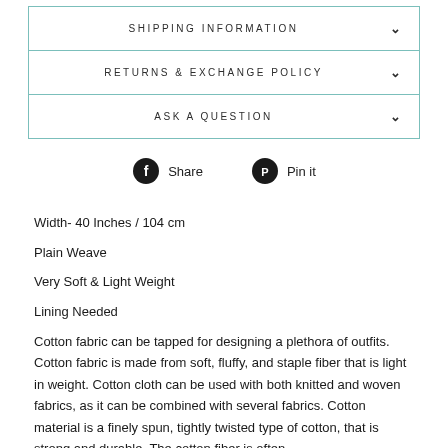SHIPPING INFORMATION
RETURNS & EXCHANGE POLICY
ASK A QUESTION
Share   Pin it
Width- 40 Inches / 104 cm
Plain Weave
Very Soft & Light Weight
Lining Needed
Cotton fabric can be tapped for designing a plethora of outfits. Cotton fabric is made from soft, fluffy, and staple fiber that is light in weight. Cotton cloth can be used with both knitted and woven fabrics, as it can be combined with several fabrics. Cotton material is a finely spun, tightly twisted type of cotton, that is strong and durable. The cotton fiber is often